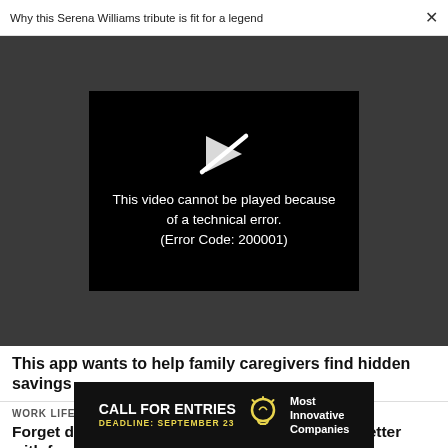Why this Serena Williams tribute is fit for a legend
[Figure (screenshot): Video player showing error message: 'This video cannot be played because of a technical error. (Error Code: 200001)' with a play icon with a slash through it, on a dark background.]
This app wants to help family caregivers find hidden savings
WORK LIFE
Forget doing more with less. This is how to do better with fewer after a layoff
[Figure (infographic): Advertisement banner: CALL FOR ENTRIES / DEADLINE: SEPTEMBER 23 / Most Innovative Companies (with lightbulb icon)]